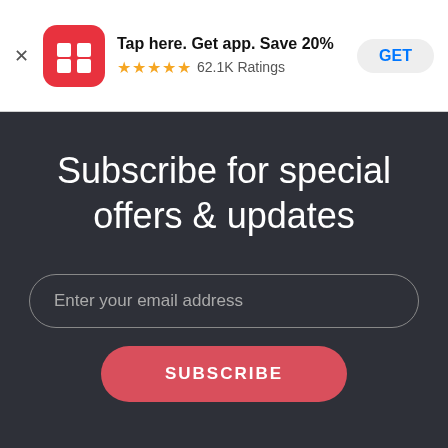[Figure (screenshot): App store banner with RB logo, 'Tap here. Get app. Save 20%' text, 5-star rating with 62.1K Ratings, and GET button]
Subscribe for special offers & updates
Enter your email address
SUBSCRIBE